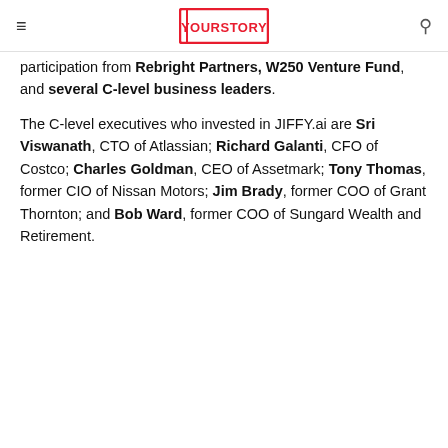YOURSTORY
participation from Rebright Partners, W250 Venture Fund, and several C-level business leaders.
The C-level executives who invested in JIFFY.ai are Sri Viswanath, CTO of Atlassian; Richard Galanti, CFO of Costco; Charles Goldman, CEO of Assetmark; Tony Thomas, former CIO of Nissan Motors; Jim Brady, former COO of Grant Thornton; and Bob Ward, former COO of Sungard Wealth and Retirement.